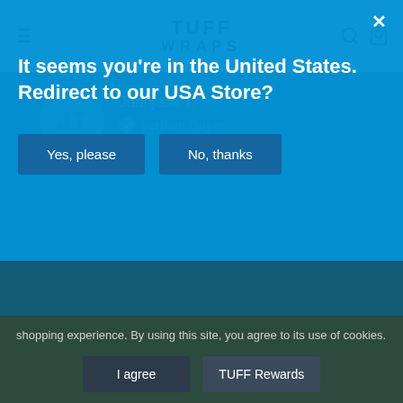TUFF WRAPS
Juanjose T.
Verified Buyer
It seems you're in the United States. Redirect to our USA Store?
Yes, please
No, thanks
shopping experience. By using this site, you agree to its use of cookies.
I agree
TUFF Rewards